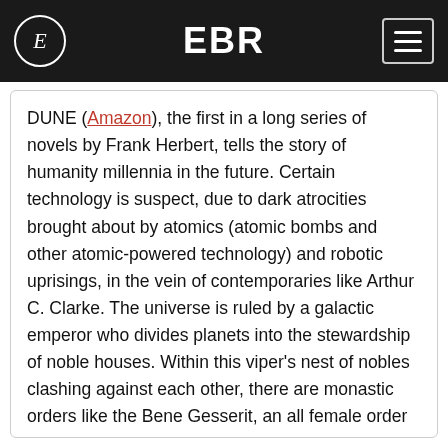EBR
DUNE (Amazon), the first in a long series of novels by Frank Herbert, tells the story of humanity millennia in the future. Certain technology is suspect, due to dark atrocities brought about by atomics (atomic bombs and other atomic-powered technology) and robotic uprisings, in the vein of contemporaries like Arthur C. Clarke. The universe is ruled by a galactic emperor who divides planets into the stewardship of noble houses. Within this viper's nest of nobles clashing against each other, there are monastic orders like the Bene Gesserit, an all female order of psionically gifted matrons manipulating a genetic conspiracy for millennia, who vie for influence and control within the Galactic Padishah Empire.
Read the rest of this post »